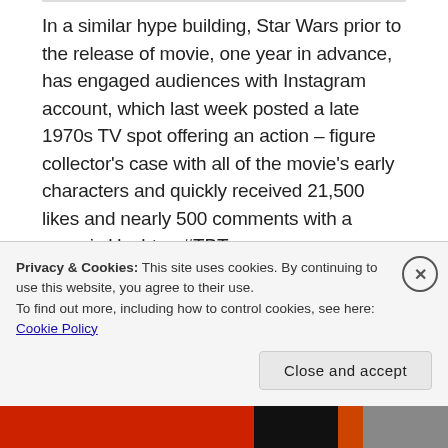In a similar hype building, Star Wars prior to the release of movie, one year in advance, has engaged audiences with Instagram account, which last week posted a late 1970s TV spot offering an action–figure collector's case with all of the movie's early characters and quickly received 21,500 likes and nearly 500 comments with a generic Hashtag #TBT
Privacy & Cookies: This site uses cookies. By continuing to use this website, you agree to their use.
To find out more, including how to control cookies, see here:
Cookie Policy
Close and accept